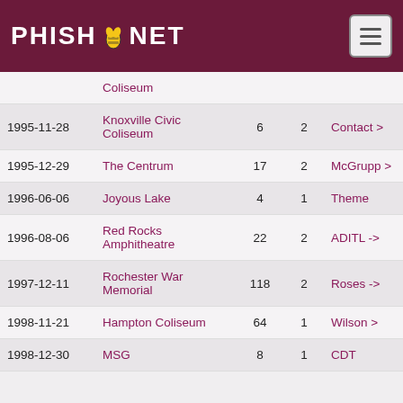PHISH.NET
| Date | Venue | # | Set | Song | Next |
| --- | --- | --- | --- | --- | --- |
|  | Coliseum |  |  |  |  |
| 1995-11-28 | Knoxville Civic Coliseum | 6 | 2 | Contact > | Funk Bitch |
| 1995-12-29 | The Centrum | 17 | 2 | McGrupp > | > Jan |
| 1996-06-06 | Joyous Lake | 4 | 1 | Theme | SOA |
| 1996-08-06 | Red Rocks Amphitheatre | 22 | 2 | ADITL -> | > HY |
| 1997-12-11 | Rochester War Memorial | 118 | 2 | Roses -> | > Gh |
| 1998-11-21 | Hampton Coliseum | 64 | 1 | Wilson > | Lawn |
| 1998-12-30 | MSG | 8 | 1 | CDT | Wilso |